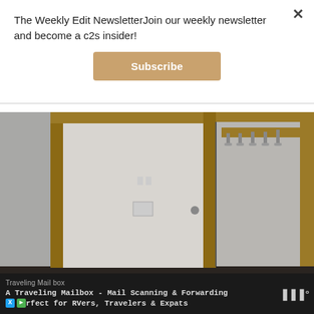The Weekly Edit NewsletterJoin our weekly newsletter and become a c2s insider!
Subscribe
[Figure (photo): Interior hallway/mudroom with a white door framed in oak wood trim, and a row of coat hooks on a wooden rail along the right wall. Gray walls and dark floor visible.]
Traveling Mailbox
A Traveling Mailbox - Mail Scanning & Forwarding
rfect for RVers, Travelers & Expats